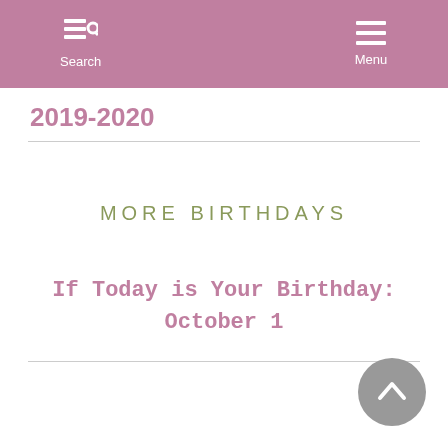Search  Menu
2019-2020
MORE BIRTHDAYS
If Today is Your Birthday: October 1